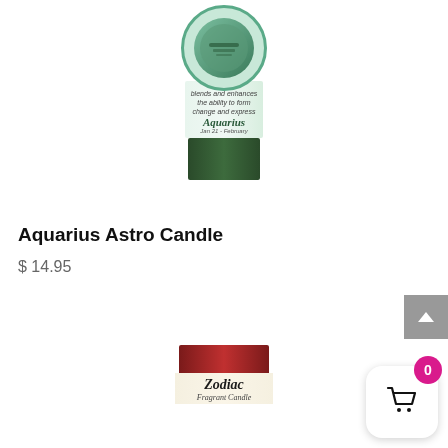[Figure (photo): Aquarius Astro Candle product image — a cylindrical candle with green base, white label reading 'Aquarius', topped with a circular green and teal illustrated label]
Aquarius Astro Candle
$ 14.95
[Figure (photo): Partial view of a Zodiac Fragrant Candle product with dark red/maroon top and cream label reading 'Zodiac Fragrant Candle']